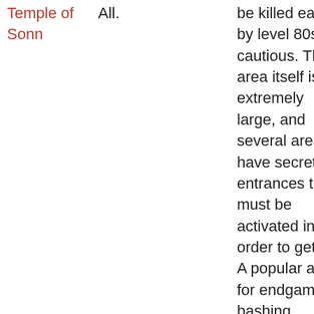| Temple of Sonn | All. | be killed easily by level 80s if cautious. The area itself is extremely large, and several areas have secret entrances that must be activated in order to get to. A popular area for endgame bashing. |
| Ollin | All. Nazetu guards, boars, and rabid sylls are aggro. Sharks in the water leading up to Ollin are also aggro. |  |
| Bhirka Mire | All. Ambushers are aggressive and can web. Turtles are also aggressive. Barkhul is invincible unless | Drakuum | All. Darkwalkers are aggro. Semi-popular area |